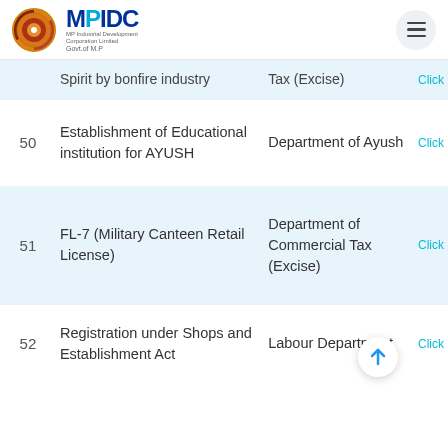[Figure (logo): MPIDC logo with Govt of MP emblem and MP Industrial Development Corporation Limited text]
| No. | Description | Department | Link |
| --- | --- | --- | --- |
|  | Spirit by bonfire industry | Tax (Excise) | Click |
| 50 | Establishment of Educational institution for AYUSH | Department of Ayush | Click |
| 51 | FL-7 (Military Canteen Retail License) | Department of Commercial Tax (Excise) | Click |
| 52 | Registration under Shops and Establishment Act | Labour Department | Click |